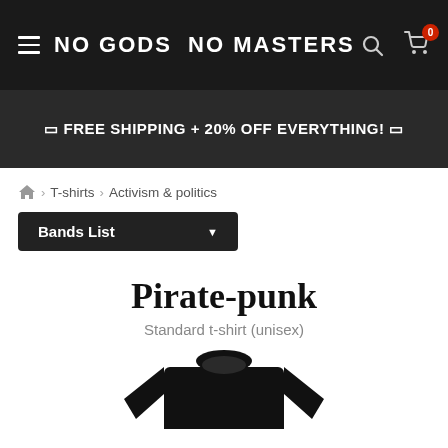NO GODS NO MASTERS
🔲 FREE SHIPPING + 20% OFF EVERYTHING! 🔲
🏠 > T-shirts > Activism & politics
Bands List
Pirate-punk
Standard t-shirt (unisex)
[Figure (photo): Black t-shirt, crew neck, top portion visible]